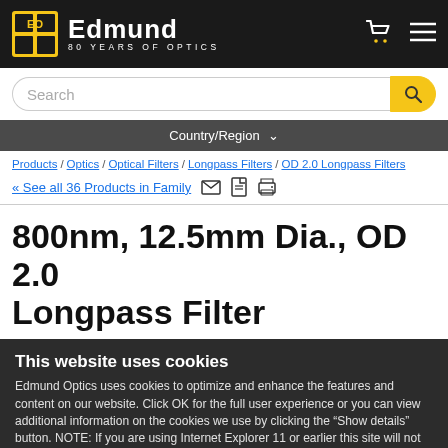Edmund Optics – 80 Years of Optics
Search
Country/Region
Products / Optics / Optical Filters / Longpass Filters / OD 2.0 Longpass Filters
« See all 36 Products in Family
800nm, 12.5mm Dia., OD 2.0 Longpass Filter
This website uses cookies
Edmund Optics uses cookies to optimize and enhance the features and content on our website. Click OK for the full user experience or you can view additional information on the cookies we use by clicking the "Show details" button. NOTE: If you are using Internet Explorer 11 or earlier this site will not work if you disable cookies. If you still wish to disable cookies we recommend using a more up-to-date browser, for example Microsoft Edge or Google Chrome.